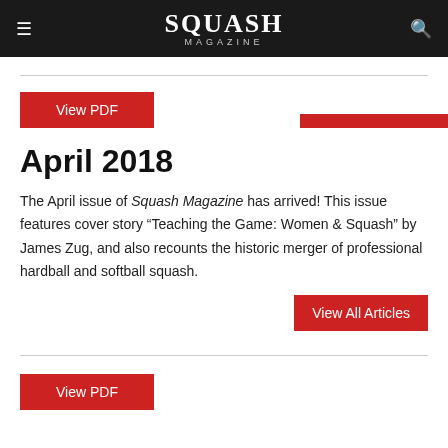SQUASH MAGAZINE
View PDF
April 2018
The April issue of Squash Magazine has arrived! This issue features cover story “Teaching the Game: Women & Squash” by James Zug, and also recounts the historic merger of professional hardball and softball squash.
View All Articles
View PDF